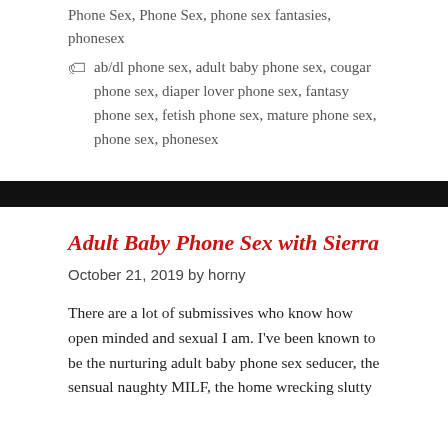Phone Sex, Phone Sex, phone sex fantasies, phonesex
ab/dl phone sex, adult baby phone sex, cougar phone sex, diaper lover phone sex, fantasy phone sex, fetish phone sex, mature phone sex, phone sex, phonesex
Adult Baby Phone Sex with Sierra
October 21, 2019 by horny
There are a lot of submissives who know how open minded and sexual I am. I've been known to be the nurturing adult baby phone sex seducer, the sensual naughty MILF, the home wrecking slutty